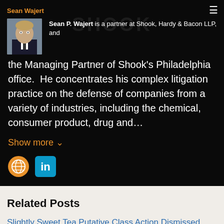Sean Wajert
[Figure (photo): Headshot photo of Sean P. Wajert, a man in a suit]
Sean P. Wajert is a partner at Shook, Hardy & Bacon LLP, and the Managing Partner of Shook's Philadelphia office.  He concentrates his complex litigation practice on the defense of companies from a variety of industries, including the chemical, consumer product, drug and...
Show more ∨
[Figure (other): Globe icon (orange) and LinkedIn icon (blue)]
Related Posts
Slightly Sweet Tea Putative Class Action Dismissed
March 15, 2022